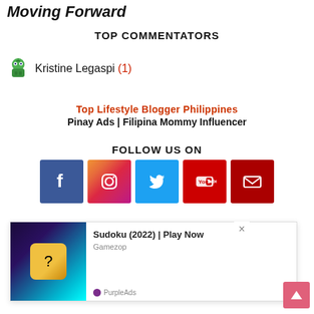Moving Forward
TOP COMMENTATORS
Kristine Legaspi (1)
Top Lifestyle Blogger Philippines
Pinay Ads | Filipina Mommy Influencer
FOLLOW US ON
[Figure (infographic): Row of 5 social media icon buttons: Facebook (blue), Instagram (gradient), Twitter (light blue), YouTube (red), Email (dark red)]
[Figure (screenshot): Ad overlay: Sudoku (2022) | Play Now by Gamezop, with a colorful game image on the left showing a glowing puzzle board with a golden question mark block, PurpleAds label at bottom right, close X button top right]